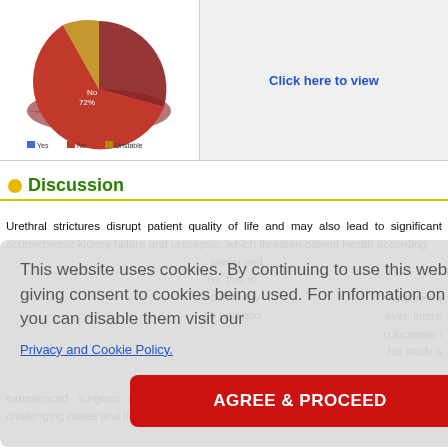[Figure (pie-chart): Partial pie chart showing No 72% (large red slice) and smaller slices for Yes and Unstable. Legend shows blue=Yes, red=No, yellow=Unstable.]
Click here to view
Discussion
Urethral strictures disrupt patient quality of life and may also lead to significant acute/chronic kidney failure and urosepsis, which threaten patient health according iology and  ns, this ro ed in many es and poo
This website uses cookies. By continuing to use this website you are giving consent to cookies being used. For information on cookies and how you can disable them visit our
Privacy and Cookie Policy.
AGREE & PROCEED
nsidered a ever, intere n increase i his study s
experienced surgeon performs the urethroplasty, high success rates can be challenging cases and that the urethroplasty procedure will not adversely affect the